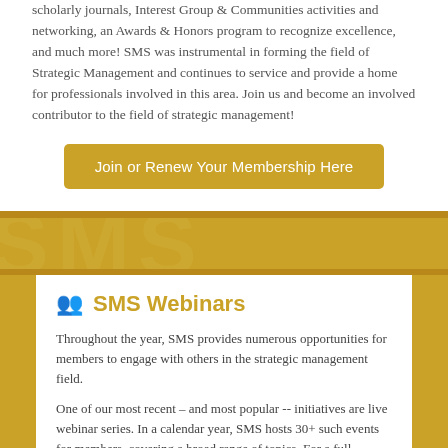scholarly journals, Interest Group & Communities activities and networking, an Awards & Honors program to recognize excellence, and much more! SMS was instrumental in forming the field of Strategic Management and continues to service and provide a home for professionals involved in this area. Join us and become an involved contributor to the field of strategic management!
Join or Renew Your Membership Here
SMS Webinars
Throughout the year, SMS provides numerous opportunities for members to engage with others in the strategic management field.
One of our most recent – and most popular -- initiatives are live webinar series. In a calendar year, SMS hosts 30+ such events for members, covering a broad range of topics. For a full calendar of upcoming events and to see examples of past sessions, click below!
Learn More